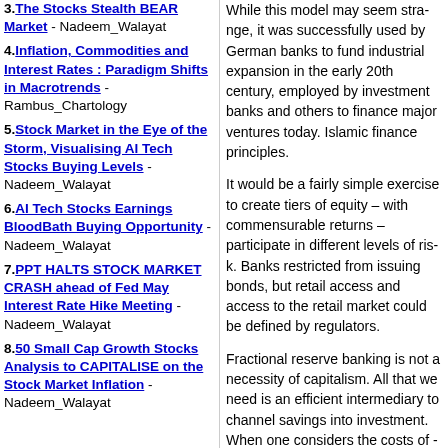3. The Stocks Stealth BEAR Market - Nadeem_Walayat
4. Inflation, Commodities and Interest Rates : Paradigm Shifts in Macrotrends - Rambus_Chartology
5. Stock Market in the Eye of the Storm, Visualising AI Tech Stocks Buying Levels - Nadeem_Walayat
6. AI Tech Stocks Earnings BloodBath Buying Opportunity - Nadeem_Walayat
7. PPT HALTS STOCK MARKET CRASH ahead of Fed May Interest Rate Hike Meeting - Nadeem_Walayat
8. 50 Small Cap Growth Stocks Analysis to CAPITALISE on the Stock Market Inflation - Nadeem_Walayat
While this model may seem strange, it was successfully used by German banks to fund industrial expansion in the early 20th century, employed by investment banks and others to finance major ventures today. Islamic finance principles.
It would be a fairly simple exercise to create tiers of equity – with commensurate returns – participate in different levels of risk. Banks restricted from issuing bonds, but retail access and access to the retail market could be defined by regulators.
Fractional reserve banking is not a necessity of capitalism. All that we need is an efficient intermediary to channel savings into investment. When one considers the costs of bank failures, especially the massive wealth destruction of an unstable banking system — the alternative is appealing.
By Colin Twigs
http://www.incrediblecharts.com